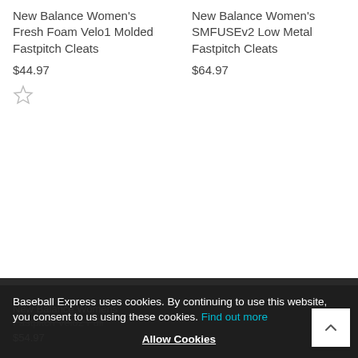New Balance Women's Fresh Foam Velo1 Molded Fastpitch Cleats
$44.97
[Figure (other): Empty star / wishlist icon]
New Balance Women's SMFUSEv2 Low Metal Fastpitch Cleats
$64.97
New Balance Womens Fastpitch Velo2 Full
$54.97
Baseball Express uses cookies. By continuing to use this website, you consent to us using these cookies. Find out more
Allow Cookies